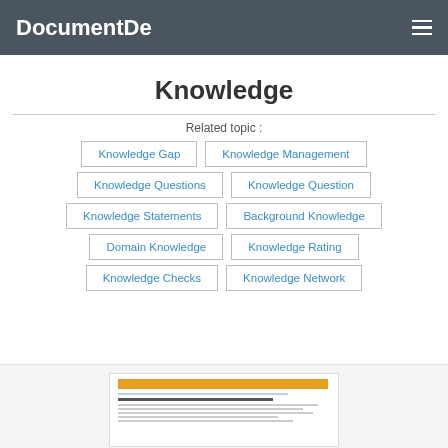DocumentDe
Knowledge
Related topic :
Knowledge Gap
Knowledge Management
Knowledge Questions
Knowledge Question
Knowledge Statements
Background Knowledge
Domain Knowledge
Knowledge Rating
Knowledge Checks
Knowledge Network
[Figure (screenshot): Document preview thumbnail showing a paper titled 'Evaluating Knowledge Quality in Knowledge Management Systems' with an orange header bar]